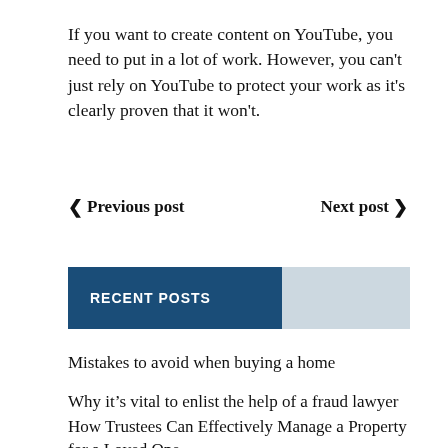If you want to create content on YouTube, you need to put in a lot of work. However, you can't just rely on YouTube to protect your work as it's clearly proven that it won't.
❮ Previous post   Next post ❯
RECENT POSTS
Mistakes to avoid when buying a home
Why it's vital to enlist the help of a fraud lawyer
How Trustees Can Effectively Manage a Property for a Loved One